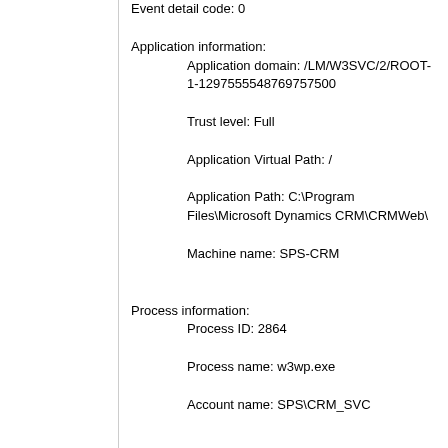Event detail code: 0

Application information:
    Application domain: /LM/W3SVC/2/ROOT-1-1297555548769757500
    Trust level: Full
    Application Virtual Path: /
    Application Path: C:\Program Files\Microsoft Dynamics CRM\CRMWeb\
    Machine name: SPS-CRM

Process information:
    Process ID: 2864
    Process name: w3wp.exe
    Account name: SPS\CRM_SVC

Exception information:
    Exception type: CrmException
    Exception message: Error occurred while fetching the list of data extensions installed on the report server.
    at Microsoft.Crm.Application.Platform.ServiceCommands.PlatformCommand.XrmExecuteInternal()
    at